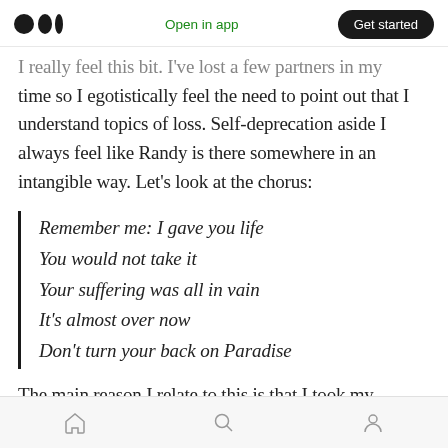Medium app top navigation bar with logo, Open in app, Get started
I really feel this bit. I've lost a few partners in my time so I egotistically feel the need to point out that I understand topics of loss. Self-deprecation aside I always feel like Randy is there somewhere in an intangible way. Let's look at the chorus:
Remember me: I gave you life
You would not take it
Your suffering was all in vain
It's almost over now
Don't turn your back on Paradise
The main reason I relate to this is that I took my
Bottom navigation bar: home, search, profile